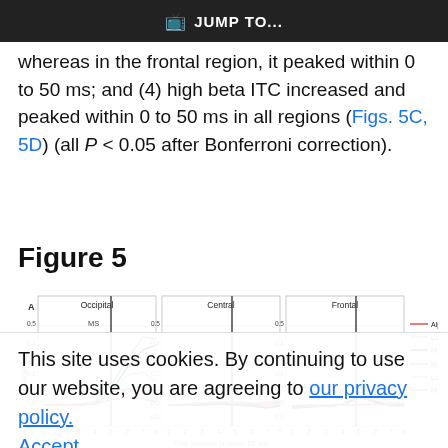JUMP TO...
whereas in the frontal region, it peaked within 0 to 50 ms; and (4) high beta ITC increased and peaked within 0 to 50 ms in all regions (Figs. 5C, 5D) (all P < 0.05 after Bonferroni correction).
Figure 5
[Figure (line-chart): Three-panel line chart showing ERSP (dB) vs Time windows (interval: 50 ms) for Occipital, Central, and Frontal regions. Each panel has lines for Alpha, Low alpha, High alpha, Beta, Low beta, and High beta. A vertical line is shown at time window 5 in Occipital/Central and at 5 in Frontal. Y-axis ranges from -0.1 to 0.5. X-axis ticks 1-8.]
This site uses cookies. By continuing to use our website, you are agreeing to our privacy policy. Accept